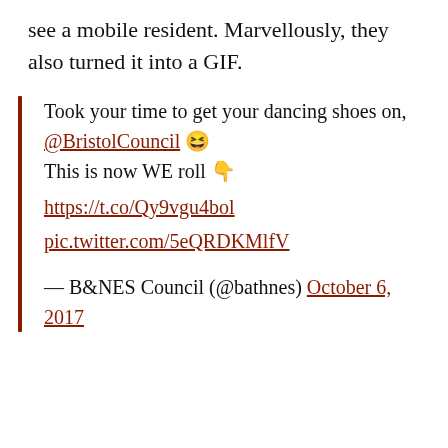see a mobile resident. Marvellously, they also turned it into a GIF.
Took your time to get your dancing shoes on, @BristolCouncil 😆
This is now WE roll 👇
https://t.co/Qy9vgu4bol
pic.twitter.com/5eQRDKMlfV
— B&NES Council (@bathnes) October 6, 2017